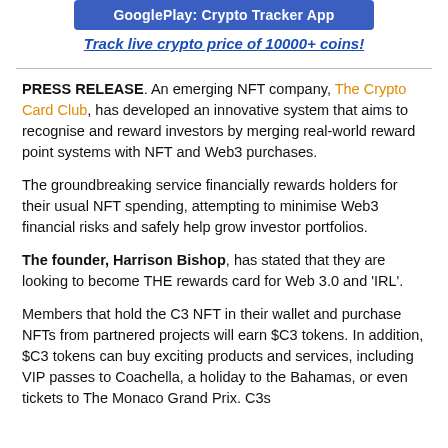[Figure (other): Google Play: Crypto Tracker App button (dark blue rounded button)]
Track live crypto price of 10000+ coins!
PRESS RELEASE. An emerging NFT company, The Crypto Card Club, has developed an innovative system that aims to recognise and reward investors by merging real-world reward point systems with NFT and Web3 purchases.
The groundbreaking service financially rewards holders for their usual NFT spending, attempting to minimise Web3 financial risks and safely help grow investor portfolios.
The founder, Harrison Bishop, has stated that they are looking to become THE rewards card for Web 3.0 and 'IRL'.
Members that hold the C3 NFT in their wallet and purchase NFTs from partnered projects will earn $C3 tokens. In addition, $C3 tokens can buy exciting products and services, including VIP passes to Coachella, a holiday to the Bahamas, or even tickets to The Monaco Grand Prix. C3s